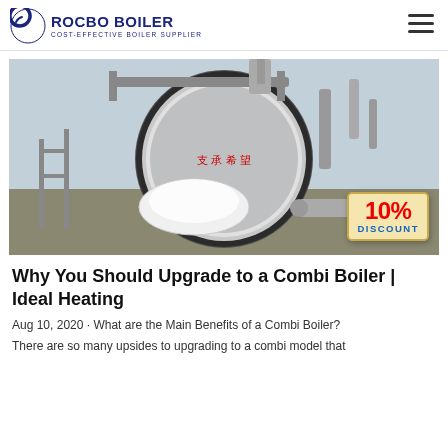ROCBO BOILER — COST-EFFECTIVE BOILER SUPPLIER
[Figure (photo): Industrial combi boiler on a construction site, large circular front view with pipes and scaffolding, with a 10% DISCOUNT badge overlay in the lower right]
Why You Should Upgrade to a Combi Boiler | Ideal Heating
Aug 10, 2020 · What are the Main Benefits of a Combi Boiler?
There are so many upsides to upgrading to a combi model that